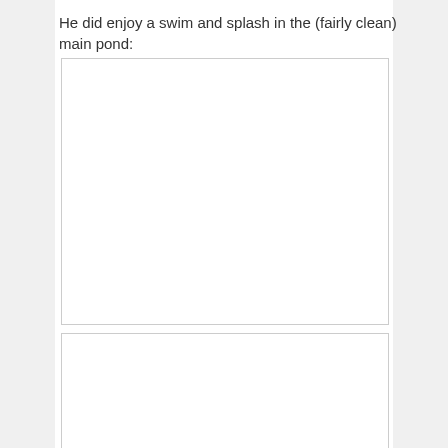He did enjoy a swim and splash in the (fairly clean) main pond:
[Figure (photo): Empty white image placeholder box 1]
[Figure (photo): Empty white image placeholder box 2]